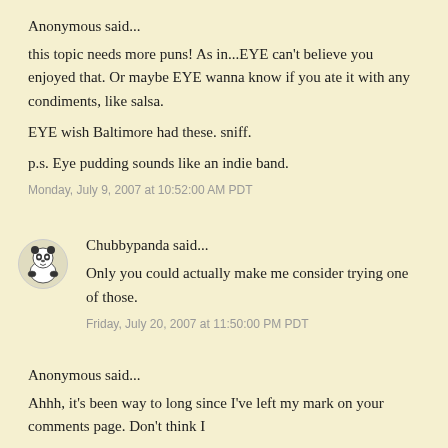Anonymous said...
this topic needs more puns! As in...EYE can't believe you enjoyed that. Or maybe EYE wanna know if you ate it with any condiments, like salsa.
EYE wish Baltimore had these. sniff.
p.s. Eye pudding sounds like an indie band.
Monday, July 9, 2007 at 10:52:00 AM PDT
[Figure (illustration): Chubbypanda avatar: cartoon panda illustration in black and white]
Chubbypanda said...
Only you could actually make me consider trying one of those.
Friday, July 20, 2007 at 11:50:00 PM PDT
Anonymous said...
Ahhh, it's been way to long since I've left my mark on your comments page. Don't think I